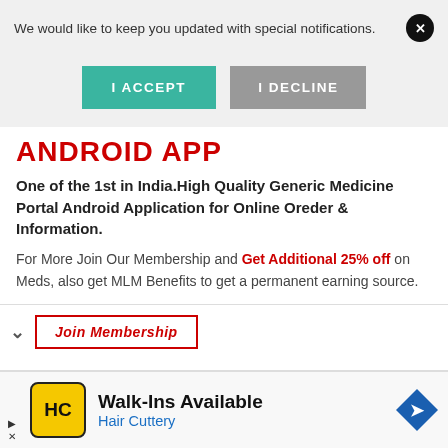We would like to keep you updated with special notifications.
I ACCEPT
I DECLINE
ANDROID APP
One of the 1st in India.High Quality Generic Medicine Portal Android Application for Online Oreder & Information.
For More Join Our Membership and Get Additional 25% off on Meds, also get MLM Benefits to get a permanent earning source.
[Figure (screenshot): Bottom bar with chevron and a partially visible red-outlined button]
[Figure (infographic): Advertisement banner: Hair Cuttery Walk-Ins Available ad with yellow HC logo and blue diamond arrow icon]